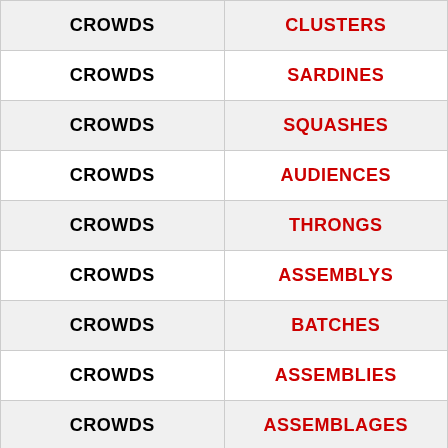| CROWDS | CLUSTERS |
| --- | --- |
| CROWDS | SARDINES |
| CROWDS | SQUASHES |
| CROWDS | AUDIENCES |
| CROWDS | THRONGS |
| CROWDS | ASSEMBLYS |
| CROWDS | BATCHES |
| CROWDS | ASSEMBLIES |
| CROWDS | ASSEMBLAGES |